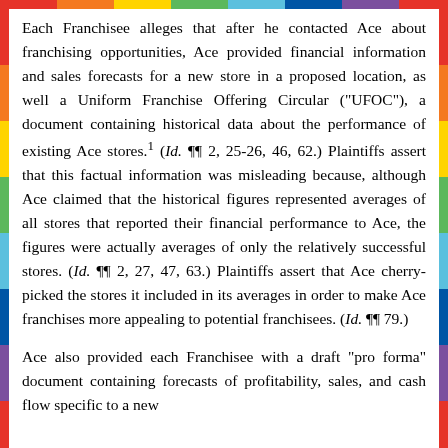Each Franchisee alleges that after he contacted Ace about franchising opportunities, Ace provided financial information and sales forecasts for a new store in a proposed location, as well a Uniform Franchise Offering Circular ("UFOC"), a document containing historical data about the performance of existing Ace stores.¹ (Id. ¶¶ 2, 25-26, 46, 62.) Plaintiffs assert that this factual information was misleading because, although Ace claimed that the historical figures represented averages of all stores that reported their financial performance to Ace, the figures were actually averages of only the relatively successful stores. (Id. ¶¶ 2, 27, 47, 63.) Plaintiffs assert that Ace cherry-picked the stores it included in its averages in order to make Ace franchises more appealing to potential franchisees. (Id. ¶¶ 79.)
Ace also provided each Franchisee with a draft "pro forma" document containing forecasts of profitability, sales, and cash flow specific to a new